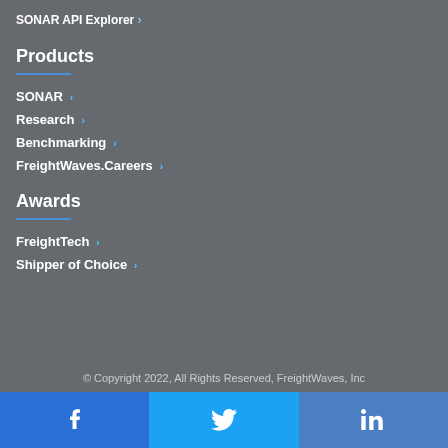SONAR API Explorer ›
Products
SONAR ›
Research ›
Benchmarking ›
FreightWaves.Careers ›
Awards
FreightTech ›
Shipper of Choice ›
© Copyright 2022, All Rights Reserved, FreightWaves, Inc
[Figure (other): Social media icon bar with Facebook, Twitter, and LinkedIn buttons]